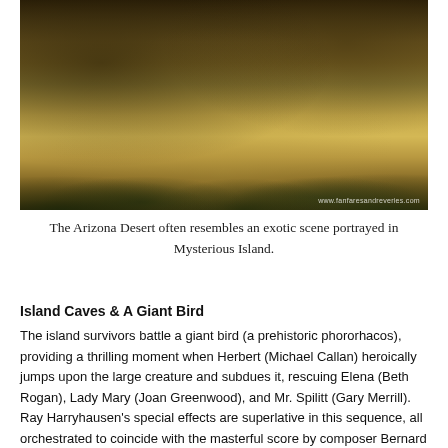[Figure (photo): Photograph of an Arizona desert landscape with dry scrubland, sandy ground, and sparse green desert shrubs under warm light. Watermark reads www.fanfaresandreveries.com]
The Arizona Desert often resembles an exotic scene portrayed in Mysterious Island.
Island Caves & A Giant Bird
The island survivors battle a giant bird (a prehistoric phororhacos), providing a thrilling moment when Herbert (Michael Callan) heroically jumps upon the large creature and subdues it, rescuing Elena (Beth Rogan), Lady Mary (Joan Greenwood), and Mr. Spilitt (Gary Merrill).  Ray Harryhausen's special effects are superlative in this sequence, all orchestrated to coincide with the masterful score by composer Bernard Herrmann.  Herrmann found an organ fugue written by composer J. L. Krebs and utilizes this thematic material to underscore the drama of contending with an otherworldly creature in such a marvelously tropical, fantastic environment.  After winning the furious